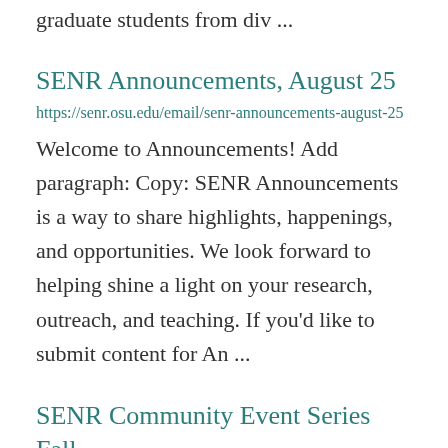graduate students from div ...
SENR Announcements, August 25
https://senr.osu.edu/email/senr-announcements-august-25
Welcome to Announcements! Add paragraph:  Copy:  SENR Announcements is a way to share highlights, happenings, and opportunities. We look forward to helping shine a light on your research, outreach, and teaching. If you'd like to submit content for An ...
SENR Community Event Series Fall